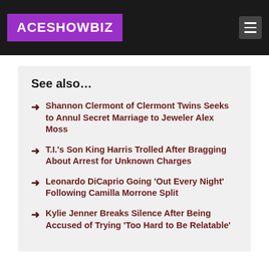ACESHOWBIZ
See also…
Shannon Clermont of Clermont Twins Seeks to Annul Secret Marriage to Jeweler Alex Moss
T.I.'s Son King Harris Trolled After Bragging About Arrest for Unknown Charges
Leonardo DiCaprio Going 'Out Every Night' Following Camilla Morrone Split
Kylie Jenner Breaks Silence After Being Accused of Trying 'Too Hard to Be Relatable'